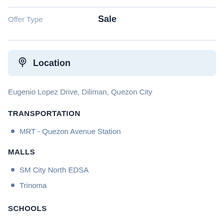Offer Type    Sale
Location
Eugenio Lopez Drive, Diliman, Quezon City
TRANSPORTATION
MRT - Quezon Avenue Station
MALLS
SM City North EDSA
Trinoma
SCHOOLS